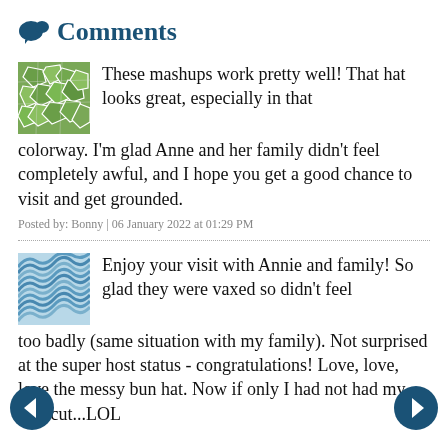Comments
These mashups work pretty well! That hat looks great, especially in that colorway. I'm glad Anne and her family didn't feel completely awful, and I hope you get a good chance to visit and get grounded.
Posted by: Bonny | 06 January 2022 at 01:29 PM
Enjoy your visit with Annie and family! So glad they were vaxed so didn't feel too badly (same situation with my family). Not surprised at the super host status - congratulations! Love, love, love the messy bun hat. Now if only I had not had my hair cut...LOL